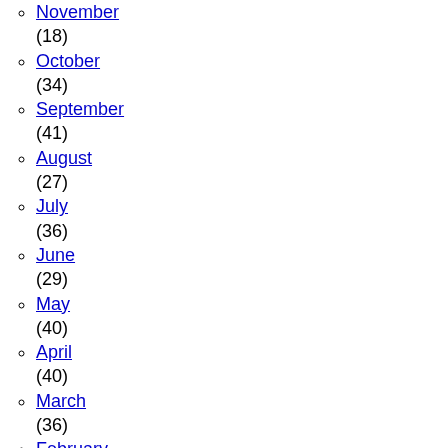November (18)
October (34)
September (41)
August (27)
July (36)
June (29)
May (40)
April (40)
March (36)
February (24)
January (37)
► 2012 (495)